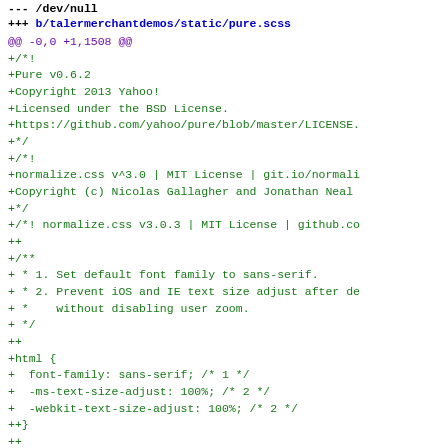--- /dev/null
+++ b/talermerchantdemos/static/pure.scss
@@ -0,0 +1,1508 @@
+/*!
+Pure v0.6.2
+Copyright 2013 Yahoo!
+Licensed under the BSD License.
+https://github.com/yahoo/pure/blob/master/LICENSE.
+*/
+/*!
+normalize.css v^3.0 | MIT License | git.io/normali
+Copyright (c) Nicolas Gallagher and Jonathan Neal
+*/
+/*! normalize.css v3.0.3 | MIT License | github.co
++
+/**
+ * 1. Set default font family to sans-serif.
+ * 2. Prevent iOS and IE text size adjust after de
+ *    without disabling user zoom.
+ */
++
+html {
+  font-family: sans-serif; /* 1 */
+  -ms-text-size-adjust: 100%; /* 2 */
+  -webkit-text-size-adjust: 100%; /* 2 */
++}
++
+/**
+ * Remove default margin.
+ * */